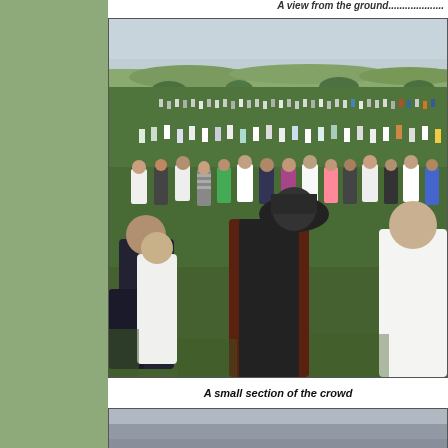A view from the ground.....................
[Figure (photo): A large crowd of people gathered on a green grassy field. People are wearing various costumes including white robes and colorful garments. Rolling green countryside with trees and distant hills visible in the background under an overcast sky. Taken from ground level looking out across the crowd.]
A small section of the crowd
[Figure (photo): Partial view of another photograph showing a grey/silver toned scene, partially visible at the bottom of the page.]